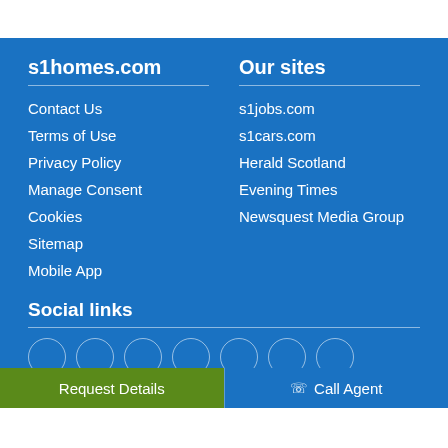s1homes.com
Contact Us
Terms of Use
Privacy Policy
Manage Consent
Cookies
Sitemap
Mobile App
Our sites
s1jobs.com
s1cars.com
Herald Scotland
Evening Times
Newsquest Media Group
Social links
Request Details
Call Agent